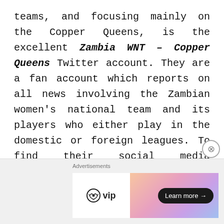teams, and focusing mainly on the Copper Queens, is the excellent Zambia WNT – Copper Queens Twitter account. They are a fan account which reports on all news involving the Zambian women's national team and its players who either play in the domestic or foreign leagues. To find their social media accounts, follow the links below:
Twitter: @Copper_Queens
[Figure (other): Advertisement banner with WordPress VIP logo and a gradient banner with Learn more button]